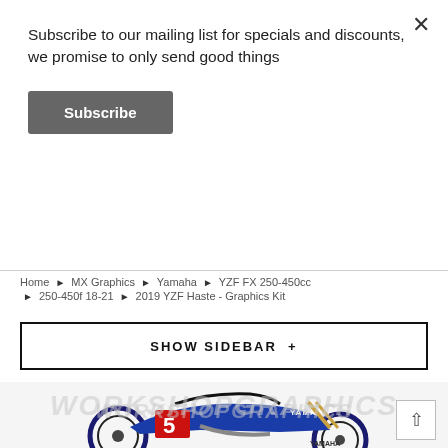Subscribe to our mailing list for specials and discounts, we promise to only send good things
Subscribe
Home ▶ MX Graphics ▶ Yamaha ▶ YZF FX 250-450cc
▶ 250-450f 18-21 ▶ 2019 YZF Haste - Graphics Kit
SHOW SIDEBAR +
[Figure (photo): Yamaha motocross dirt bike with number 5 graphics kit, blue and white coloring with red accents, WORKSHOPGRAPHICS watermark visible]